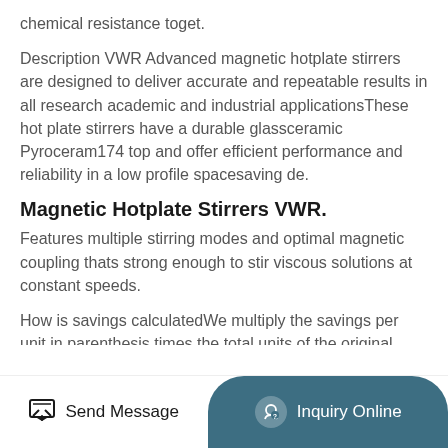chemical resistance toget.
Description VWR Advanced magnetic hotplate stirrers are designed to deliver accurate and repeatable results in all research academic and industrial applicationsThese hot plate stirrers have a durable glassceramic Pyroceram174 top and offer efficient performance and reliability in a low profile spacesaving de.
Magnetic Hotplate Stirrers VWR.
Features multiple stirring modes and optimal magnetic coupling thats strong enough to stir viscous solutions at constant speeds.
How is savings calculatedWe multiply the savings per unit in parenthesis times the total units of the original product.